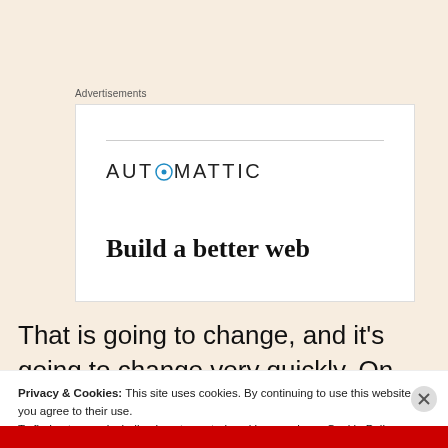Advertisements
[Figure (screenshot): Automattic advertisement banner with logo and tagline 'Build a better web']
That is going to change, and it’s going to change very quickly. On the sitcom side. 30
Privacy & Cookies: This site uses cookies. By continuing to use this website, you agree to their use.
To find out more, including how to control cookies, see here: Cookie Policy
Close and accept